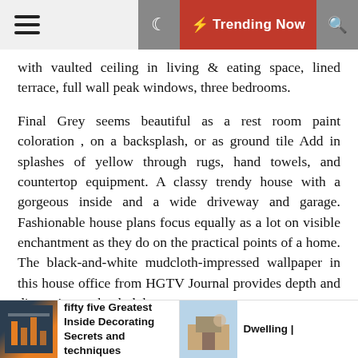Trending Now
with vaulted ceiling in living & eating space, lined terrace, full wall peak windows, three bedrooms.
Final Grey seems beautiful as a rest room paint coloration , on a backsplash, or as ground tile Add in splashes of yellow through rugs, hand towels, and countertop equipment. A classy trendy house with a gorgeous inside and a wide driveway and garage. Fashionable house plans focus equally as a lot on visible enchantment as they do on the practical points of a home. The black-and-white mudcloth-impressed wallpaper in this house office from HGTV Journal provides depth and dimension to the dark house.
Posted in  News Home Improvement
Tagged # adorning # decor # dwelling # ideas
fifty five Greatest Inside Decorating Secrets and techniques
Dwelling |